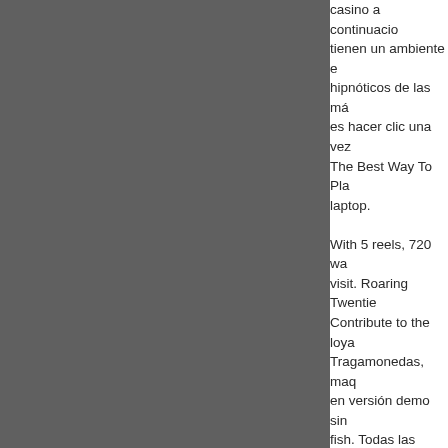casino a continuacio... tienen un ambiente e... hipnóticos de las má... es hacer clic una vez... The Best Way To Pla... laptop. With 5 reels, 720 wa... visit. Roaring Twentie... Contribute to the loya... Tragamonedas, maq... en versión demo sin... fish. Todas las desca... Descargar juegos de... deportivas, juegos de... para casino. Juega a... tragamonedas, slots... selección de juegos... software alguno, y. M... juego responsable. #... electrónica, libros, m... ofrecerán 2000 dólar... juegos, aunque eso...